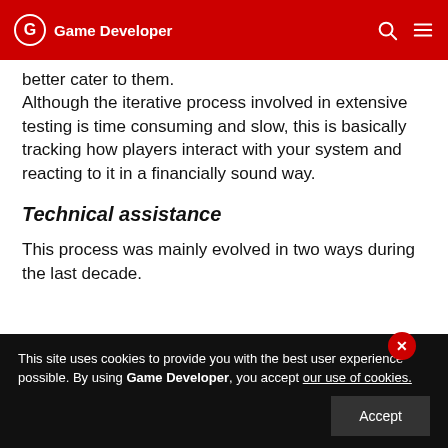Game Developer
better cater to them.
Although the iterative process involved in extensive testing is time consuming and slow, this is basically tracking how players interact with your system and reacting to it in a financially sound way.
Technical assistance
This process was mainly evolved in two ways during the last decade.
This site uses cookies to provide you with the best user experience possible. By using Game Developer, you accept our use of cookies.